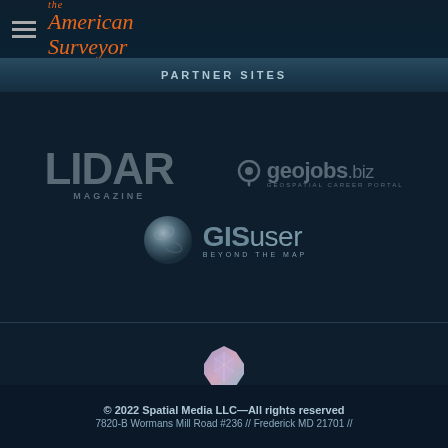[Figure (logo): The American Surveyor magazine logo with hamburger menu icon]
PARTNER SITES
[Figure (logo): LIDAR Magazine logo]
[Figure (logo): geojobs.biz Geospatial Career Portal logo]
[Figure (logo): GISuser Beyond the Map logo with sphere icon]
[Figure (logo): Spatial Media logo with gem/diamond icon]
© 2022 Spatial Media LLC—All rights reserved
7820-B Wormans Mill Road #236 // Frederick MD 21701 //